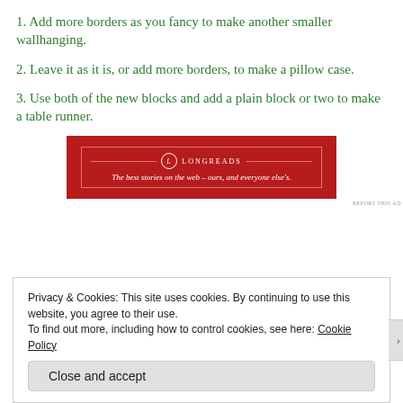1. Add more borders as you fancy to make another smaller wallhanging.
2. Leave it as it is, or add more borders, to make a pillow case.
3. Use both of the new blocks and add a plain block or two to make a table runner.
[Figure (other): Longreads advertisement banner — red background with logo and tagline 'The best stories on the web – ours, and everyone else's.']
Privacy & Cookies: This site uses cookies. By continuing to use this website, you agree to their use.
To find out more, including how to control cookies, see here: Cookie Policy